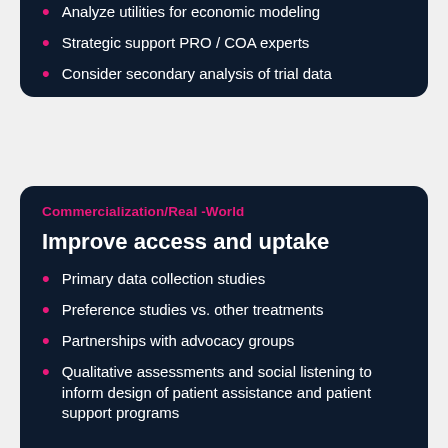Analyze utilities for economic modeling
Strategic support PRO / COA experts
Consider secondary analysis of trial data
Commercialization/Real -World
Improve access and uptake
Primary data collection studies
Preference studies vs. other treatments
Partnerships with advocacy groups
Qualitative assessments and social listening to inform design of patient assistance and patient support programs